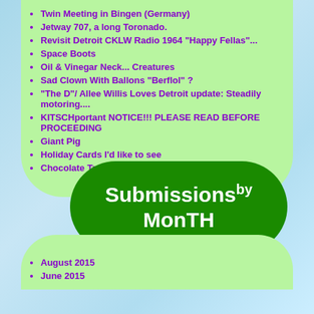Twin Meeting in Bingen (Germany)
Jetway 707, a long Toronado.
Revisit Detroit CKLW Radio 1964 "Happy Fellas"...
Space Boots
Oil & Vinegar Neck... Creatures
Sad Clown With Ballons "Berflol" ?
"The D"/ Allee Willis Loves Detroit update: Steadily motoring....
KITSCHportant NOTICE!!! PLEASE READ BEFORE PROCEEDING
Giant Pig
Holiday Cards I'd like to see
Chocolate Trail 2013 in Hong Kong
[Figure (illustration): Green pill-shaped banner with white handwritten text reading 'Submissions by Month' on a light blue sky background]
August 2015
June 2015